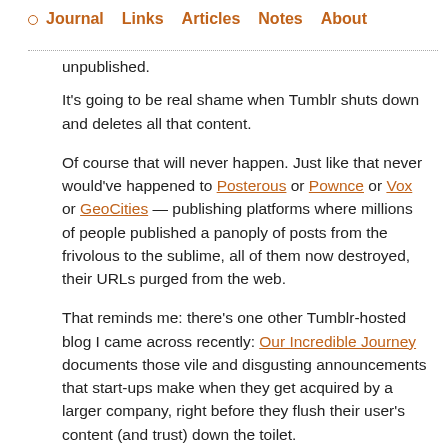Journal  Links  Articles  Notes  About
unpublished.
It's going to be real shame when Tumblr shuts down and deletes all that content.
Of course that will never happen. Just like that never would've happened to Posterous or Pownce or Vox or GeoCities — publishing platforms where millions of people published a panoply of posts from the frivolous to the sublime, all of them now destroyed, their URLs purged from the web.
That reminds me: there's one other Tumblr-hosted blog I came across recently: Our Incredible Journey documents those vile and disgusting announcements that start-ups make when they get acquired by a larger company, right before they flush their user's content (and trust) down the toilet.